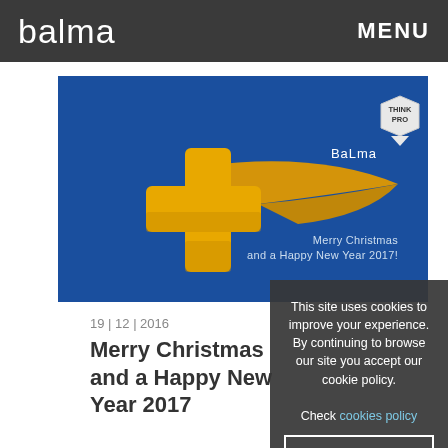balma   MENU
[Figure (illustration): Balma Christmas card with blue background, golden shooting star with a plus/cross shape, text 'Merry Christmas and a Happy New Year 2017!' and Balma Think Pro logo badge in top right corner]
19 | 12 | 2016
Merry Christmas and a Happy New Year 2017
This site uses cookies to improve your experience. By continuing to browse our site you accept our cookie policy.
Check cookies policy
Close